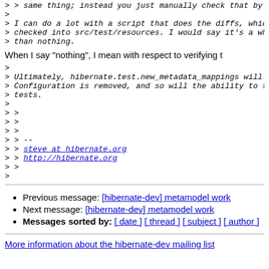> > same thing; instead you just manually check that by
>
> I can do a lot with a script that does the diffs, which
> checked into src/test/resources. I would say it's a who
> than nothing.
When I say "nothing", I mean with respect to verifying t
>
> Ultimately, hibernate.test.new_metadata_mappings will g
> Configuration is removed, and so will the ability to to
> tests.
>
> >
> >
> >
> > --
> > steve at hibernate.org
> > http://hibernate.org
> >
>
Previous message: [hibernate-dev] metamodel work
Next message: [hibernate-dev] metamodel work
Messages sorted by: [ date ] [ thread ] [ subject ] [ author ]
More information about the hibernate-dev mailing list